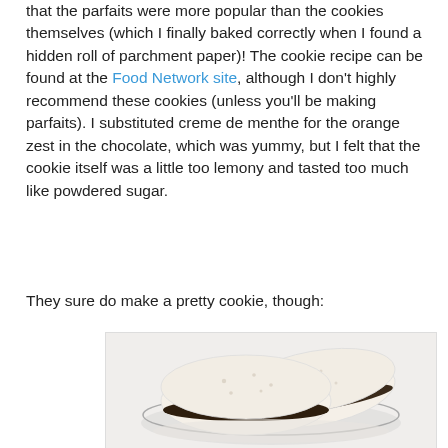that the parfaits were more popular than the cookies themselves (which I finally baked correctly when I found a hidden roll of parchment paper)! The cookie recipe can be found at the Food Network site, although I don't highly recommend these cookies (unless you'll be making parfaits). I substituted creme de menthe for the orange zest in the chocolate, which was yummy, but I felt that the cookie itself was a little too lemony and tasted too much like powdered sugar.
They sure do make a pretty cookie, though:
[Figure (photo): Photo of sandwich cookies with dark chocolate filling stacked on a white plate against a light background]